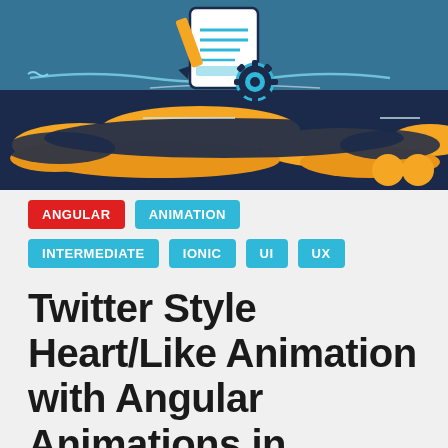[Figure (illustration): Dark navy blue and golden yellow decorative banner illustration with coding/document icon featuring pencil, document and gear symbols in a flat design style with wavy shapes]
ANGULAR
ANIMATION
INTERMEDIATE
IONIC
UI
UX
Twitter Style Heart/Like Animation with Angular Animations in